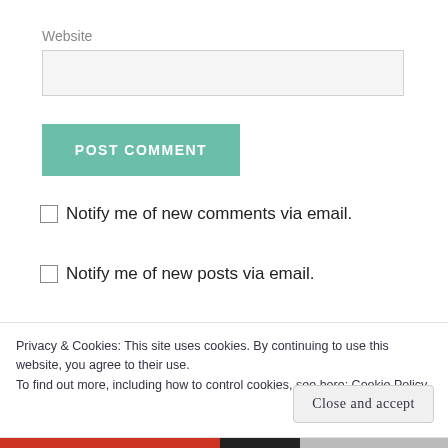Website
[Figure (screenshot): Empty website text input field with light gray background and border]
[Figure (screenshot): POST COMMENT button in teal/green color with white uppercase text]
Notify me of new comments via email.
Notify me of new posts via email.
Privacy & Cookies: This site uses cookies. By continuing to use this website, you agree to their use.
To find out more, including how to control cookies, see here: Cookie Policy
Close and accept